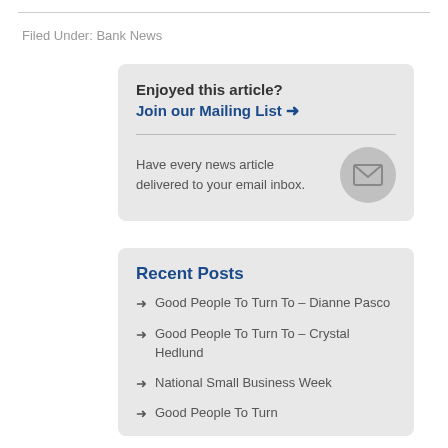Filed Under: Bank News
Enjoyed this article? Join our Mailing List →

Have every news article delivered to your email inbox.
Recent Posts
Good People To Turn To – Dianne Pasco
Good People To Turn To – Crystal Hedlund
National Small Business Week
Good People To Turn